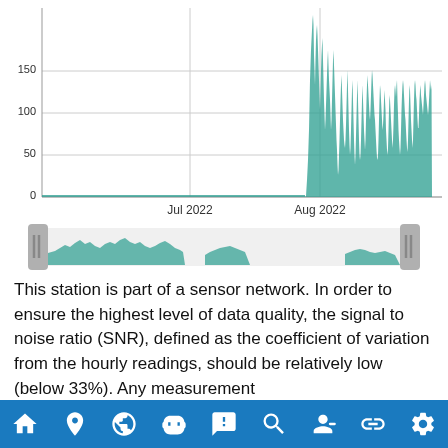[Figure (continuous-plot): Time series line/area chart showing signal-to-noise ratio values from approximately June 2022 to September 2022. A navigator/overview chart is shown below the main chart. The main chart shows a spike of values reaching up to ~175 in August 2022, with most values near 0 before and after. Y-axis labels: 0, 50, 100, 150. X-axis labels: Jul 2022, Aug 2022.]
This station is part of a sensor network. In order to ensure the highest level of data quality, the signal to noise ratio (SNR), defined as the coefficient of variation from the hourly readings, should be relatively low (below 33%). Any measurement